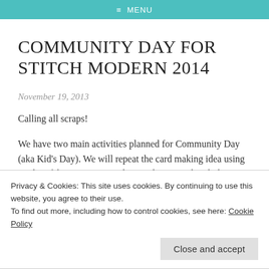≡ MENU
COMMUNITY DAY FOR STITCH MODERN 2014
November 19, 2013
Calling all scraps!
We have two main activities planned for Community Day (aka Kid's Day). We will repeat the card making idea using random fabric scraps. People can play around with design
Privacy & Cookies: This site uses cookies. By continuing to use this website, you agree to their use.
To find out more, including how to control cookies, see here: Cookie Policy
Close and accept